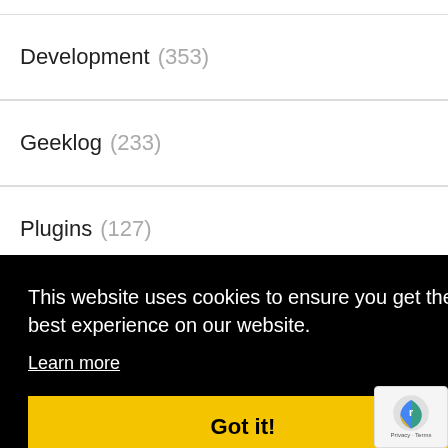Development (353)
Geeklog (233)
Plugins (127)
Themes (6)
News (207)
This website uses cookies to ensure you get the best experience on our website. Learn more
Got it!
Spam (11)